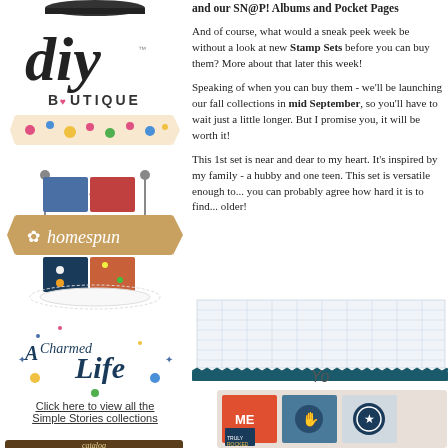[Figure (logo): DIY Boutique logo with floral banner]
[Figure (logo): Homespun collection logo with banner and doily]
[Figure (logo): A Charmed Life collection logo with floral script]
Click here to view all the Simple Stories collections
[Figure (illustration): Catalog bar/banner at bottom of left column]
and our SN@P! Albums and Pocket Pages
And of course, what would a sneak peek week be without a look at new Stamp Sets before you can buy them? More about that later this week!
Speaking of when you can buy them - we'll be launching our fall collections in mid September, so you'll have to wait just a little longer. But I promise you, it will be worth it!
This 1st set is near and dear to my heart. It's inspired by my family - a hubby and one teen. This set is versatile enough to ... you can probably agree how hard it is to find ... older!
[Figure (illustration): Grid/lined paper texture with dark teal decorative border]
Yo
[Figure (photo): Scrapbook pocket pages with ME label, star badge, and colorful cards]